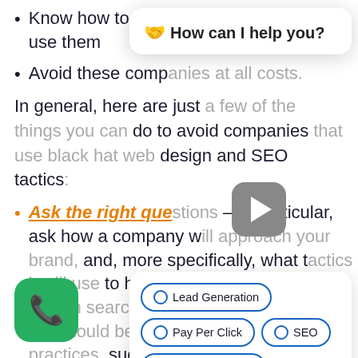Know how to identify the companies that use them
Avoid these companies at all costs.
In general, here are just a few of the things you can do to avoid companies that use black hat web design and SEO tactics:
Ask the right questions – In particular, ask how a company will approach your brand, more specifically, what tactics it will use to help your site legitimately rank in search engines. The answers you get should be reflective of industry best practices, such as designing an original site for you, publishing
[Figure (screenshot): Chat widget overlay with 'How can I help you?' header and emoji, a video play button, chat option buttons for Lead Generation, Pay Per Click, SEO, Website Design, and a green phone call button.]